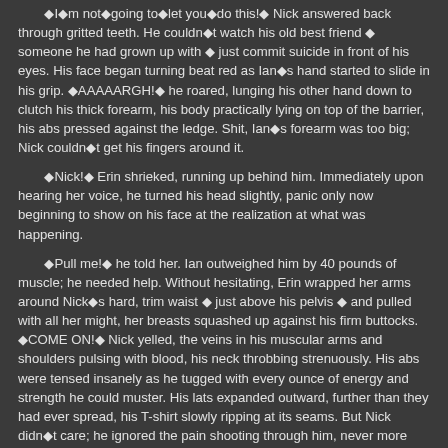�I�m not�going to�let you�do this!� Nick answered back through gritted teeth. He couldn�t watch his old best friend � someone he had grown up with � just commit suicide in front of his eyes. His face began turning beat red as Ian�s hand started to slide in his grip. �AAAAARGH!� he roared, lunging his other hand down to clutch his thick forearm, his body practically lying on top of the barrier, his abs pressed against the ledge. Shit, Ian�s forearm was too big; Nick couldn�t get his fingers around it.
�Nick!� Erin shrieked, running up behind him. Immediately upon hearing her voice, he turned his head slightly, panic only now beginning to show on his face at the realization at what was happening.
�Pull me!� he told her. Ian outweighed him by 40 pounds of muscle; he needed help. Without hesitating, Erin wrapped her arms around Nick�s hard, trim waist � just above his pelvis � and pulled with all her might, her breasts squashed up against his firm buttocks. �COME ON!� Nick yelled, the veins in his muscular arms and shoulders pulsing with blood, his neck throbbing strenuously. His abs were tensed insanely as he tugged with every ounce of energy and strength he could muster. His lats expanded outward, further than they had ever spread, his T-shirt slowly ripping at its seams. But Nick didn�t care; he ignored the pain shooting through him, never more determined in his life.
Slowly, Ian�s body began rising upward, his free arm reaching for the ledge. He no longer wanted to die. At last, he was high enough that he was able to grab hold of the wall and begin to pull himself up, easing the tension off of Nick. Nick continued pulling as hard as he could until Ian rolled back over the barrier and on top of him. Exhausted, his body flushed and pumped, Nick sat up and pushed a delirious Ian over onto his back. Ian was barely conscious and his skin felt cold and clammy. Worried, Nick looked into his friend�s eyes. Shit!
�Erin, look at his pupils!� he said to his girlfriend. Ian�s pupils were dilated